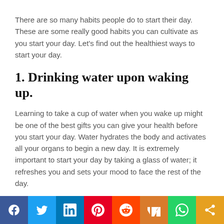There are so many habits people do to start their day. These are some really good habits you can cultivate as you start your day. Let’s find out the healthiest ways to start your day.
1. Drinking water upon waking up.
Learning to take a cup of water when you wake up might be one of the best gifts you can give your health before you start your day. Water hydrates the body and activates all your organs to begin a new day. It is extremely important to start your day by taking a glass of water; it refreshes you and sets your mood to face the rest of the day.
Another reason why drinking water in the morning is one of the healthiest ways to start your day is because our bodies are dry when we wake up in the morning. Hence, drinking a
[Figure (other): Social media sharing bar with Facebook, Twitter, LinkedIn, Pinterest, Reddit, Mix, WhatsApp, and share icons]